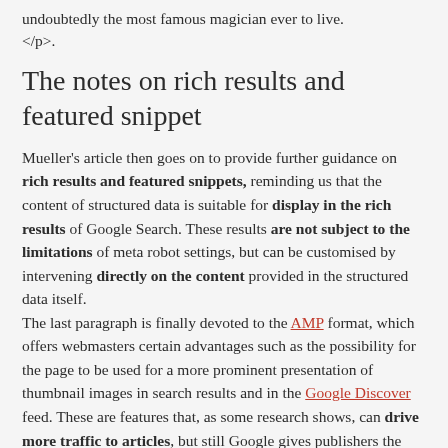undoubtedly the most famous magician ever to live. </p>.
The notes on rich results and featured snippet
Mueller's article then goes on to provide further guidance on rich results and featured snippets, reminding us that the content of structured data is suitable for display in the rich results of Google Search. These results are not subject to the limitations of meta robot settings, but can be customised by intervening directly on the content provided in the structured data itself.
The last paragraph is finally devoted to the AMP format, which offers webmasters certain advantages such as the possibility for the page to be used for a more prominent presentation of thumbnail images in search results and in the Google Discover feed. These are features that, as some research shows, can drive more traffic to articles, but still Google gives publishers the possibility to limit the size of images using the meta robot settings described above.